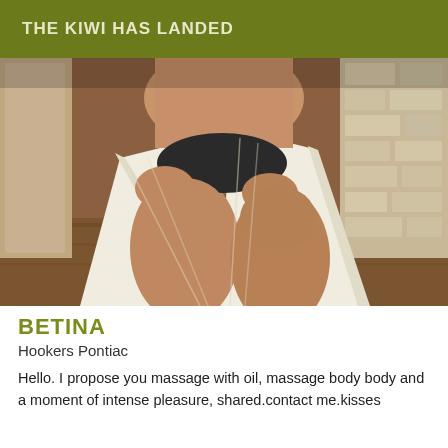THE KIWI HAS LANDED
[Figure (photo): Close-up photo of a person sitting, wearing a white towel, showing legs and torso, in a spa/sauna-like setting with stone wall background]
BETINA
Hookers Pontiac
Hello. I propose you massage with oil, massage body body and a moment of intense pleasure, shared.contact me.kisses